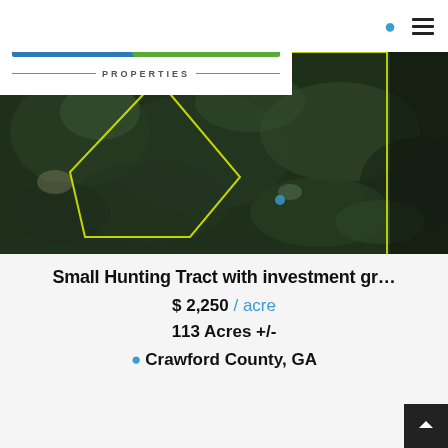[Figure (logo): Southern Rivers Properties logo with blue and green banner and decorative river/wave graphic]
[Figure (photo): Aerial satellite view of a forested land tract with yellow boundary lines marking the property edges, approximately 113 acres in Crawford County, GA]
Small Hunting Tract with investment gr...
$ 2,250 / acre
113 Acres +/-
Crawford County, GA